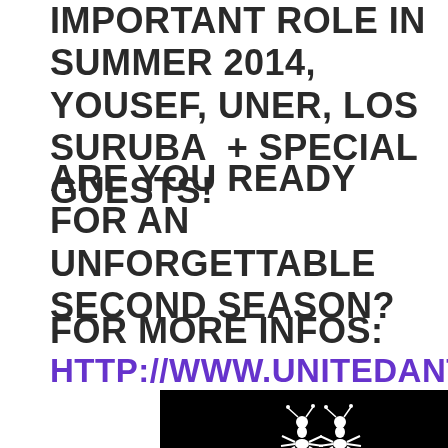IMPORTANT ROLE IN SUMMER 2014, YOUSEF, UNER, LOS SURUBA + SPECIAL GUESTS!
ARE YOU READY FOR AN UNFORGETTABLE SECOND SEASON?
FOR MORE INFOS:
HTTP://WWW.UNITEDANTS.COM
[Figure (logo): United Ants logo - white ants graphic on black background]